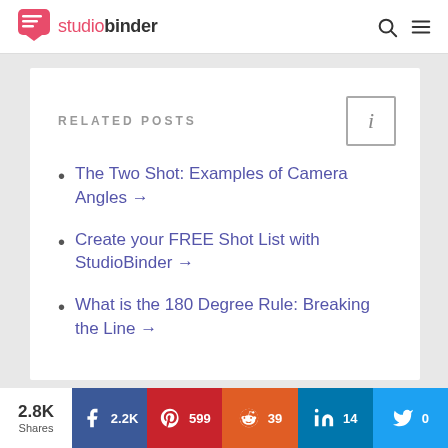studiobinder
RELATED POSTS
The Two Shot: Examples of Camera Angles →
Create your FREE Shot List with StudioBinder →
What is the 180 Degree Rule: Breaking the Line →
2.8K Shares | Facebook 2.2K | Pinterest 599 | Reddit 39 | LinkedIn 14 | Twitter 0